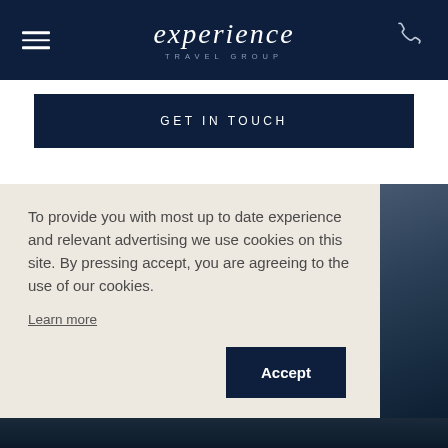experience TRAVEL GROUP
GET IN TOUCH
To provide you with most up to date experience and relevant advertising we use cookies on this site. By pressing accept, you are agreeing to the use of our cookies.
Learn more
Accept